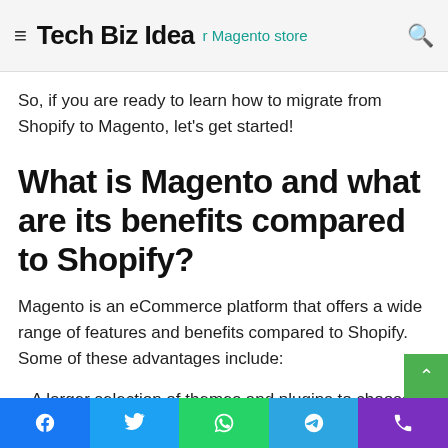Tech Biz Idea  [search icon]  [hamburger menu]  [Magento store text]
So, if you are ready to learn how to migrate from Shopify to Magento, let's get started!
What is Magento and what are its benefits compared to Shopify?
Magento is an eCommerce platform that offers a wide range of features and benefits compared to Shopify. Some of these advantages include:
– A larger selection of themes and plugins to choose from
– More flexibility in terms of customization
Facebook | Twitter | WhatsApp | Telegram | Phone